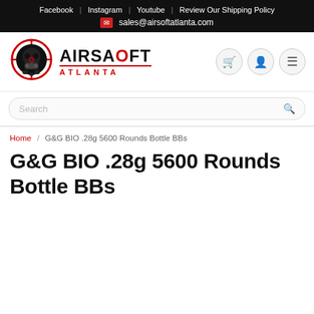Facebook | Instagram | Youtube | Review Our Shipping Policy
✉ sales@airsoftatlanta.com
[Figure (logo): Airsoft Atlanta logo: skull with gas mask inside a crosshair target circle, red and black, with 'AIRSOFT ATLANTA' text]
Search
Home / G&G BIO .28g 5600 Rounds Bottle BBs
G&G BIO .28g 5600 Rounds Bottle BBs